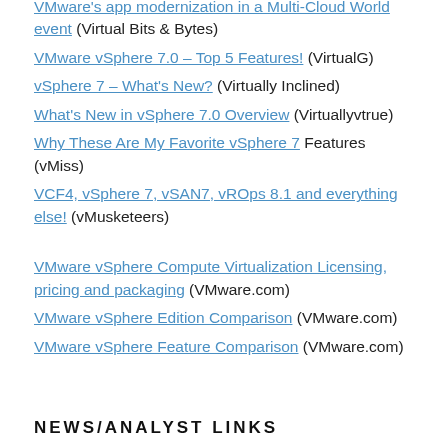VMware's app modernization in a Multi-Cloud World event (Virtual Bits & Bytes)
VMware vSphere 7.0 – Top 5 Features! (VirtualG)
vSphere 7 – What's New? (Virtually Inclined)
What's New in vSphere 7.0 Overview (Virtuallyvtrue)
Why These Are My Favorite vSphere 7 Features (vMiss)
VCF4, vSphere 7, vSAN7, vROps 8.1 and everything else! (vMusketeers)
VMware vSphere Compute Virtualization Licensing, pricing and packaging (VMware.com)
VMware vSphere Edition Comparison (VMware.com)
VMware vSphere Feature Comparison (VMware.com)
NEWS/ANALYST LINKS